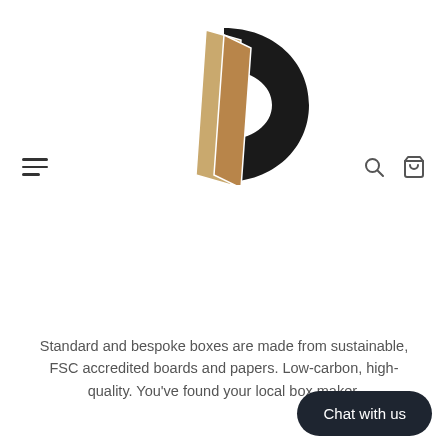[Figure (logo): Company logo: tan/kraft cardboard sheets leaning against a dark circular D-shape letterform]
Standard and bespoke boxes are made from sustainable, FSC accredited boards and papers. Low-carbon, high-quality. You've found your local box maker.
CONTENTS
Contact Us
Privacy Policy
Delivery and Returns
Chat with us